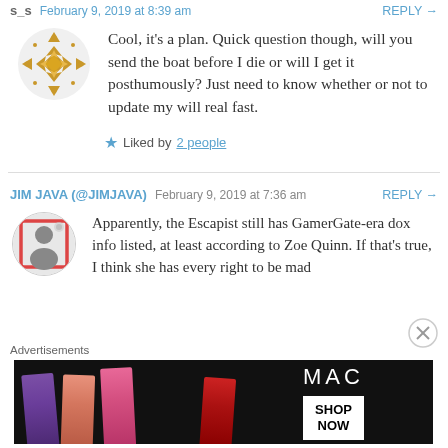s_s  February 9, 2019 at 8:39 am   REPLY →
Cool, it's a plan. Quick question though, will you send the boat before I die or will I get it posthumously? Just need to know whether or not to update my will real fast.
★ Liked by 2 people
JIM JAVA (@JIMJAVA)  February 9, 2019 at 7:36 am   REPLY →
Apparently, the Escapist still has GamerGate-era dox info listed, at least according to Zoe Quinn. If that's true, I think she has every right to be mad
Advertisements
[Figure (photo): MAC cosmetics advertisement showing lipsticks with 'SHOP NOW' button]